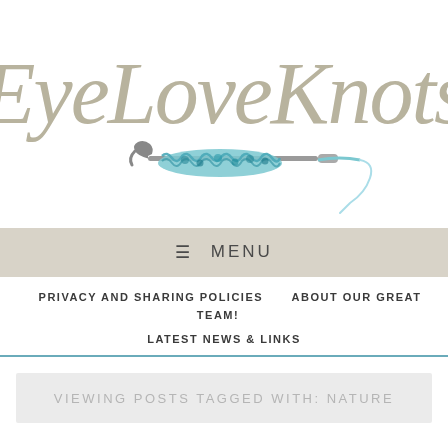[Figure (logo): EyeLoveKnots script logo with crochet hook and teal yarn illustration]
≡ MENU
PRIVACY AND SHARING POLICIES    ABOUT OUR GREAT TEAM!
LATEST NEWS & LINKS
VIEWING POSTS TAGGED WITH: NATURE
MOUNTAIN LANDSCAPE WALL HANGING – CROCHET PATTERN REVIEW